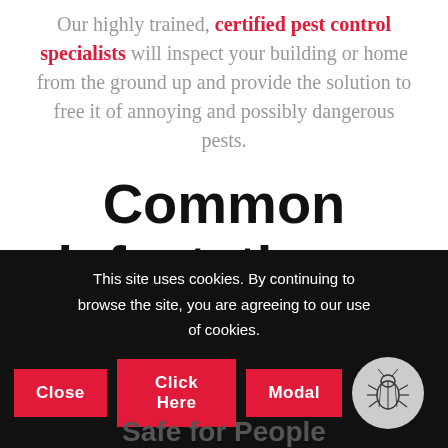Our highly trained, certified pest control specialists will inspect your building or home from the ground up and provide the solution to free it of annoying and possibly dangerous pests.
Common infestations:
This site uses cookies. By continuing to browse the site, you are agreeing to our use of cookies.
Close   Click Here   Modal
Safe for People